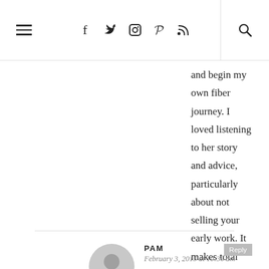Navigation bar with hamburger menu, social icons (Facebook, Twitter, Instagram, Pinterest, RSS), and search icon
and begin my own fiber journey. I loved listening to her story and advice, particularly about not selling your early work. It makes total sense. I had a major star struck moment a couple of weeks ago when she “liked” one of my weavings on her #weaveweird. Just one example of how affective her community building has become! Already looking forward to next Tuesday!
PAM
February 3, 2015 at 10:36 am
Is there anything more delicious than mini skeins? Really, they’re like potato